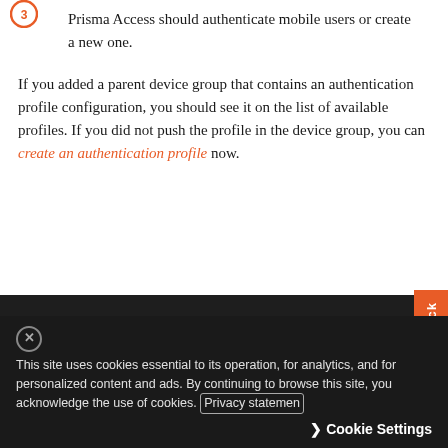Prisma Access should authenticate mobile users or create a new one.
If you added a parent device group that contains an authentication profile configuration, you should see it on the list of available profiles. If you did not push the profile in the device group, you can create an authentication profile now.
[Figure (illustration): Note box with dark background containing a document/edit icon and text about committing and pushing changes]
After you commit and push your changes, you cannot make any changes to the authentication profile and authentication override certificate in the area and the choices become read-only. To make changes after initial
This site uses cookies essential to its operation, for analytics, and for personalized content and ads. By continuing to browse this site, you acknowledge the use of cookies. Privacy statement
Cookie Settings